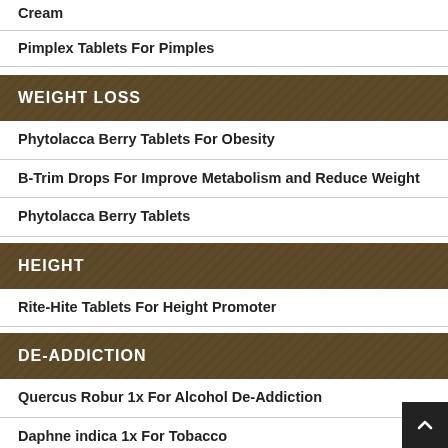Cream
Pimplex Tablets For Pimples
WEIGHT LOSS
Phytolacca Berry Tablets For Obesity
B-Trim Drops For Improve Metabolism and Reduce Weight
Phytolacca Berry Tablets
HEIGHT
Rite-Hite Tablets For Height Promoter
DE-ADDICTION
Quercus Robur 1x For Alcohol De-Addiction
Daphne indica 1x For Tobacco